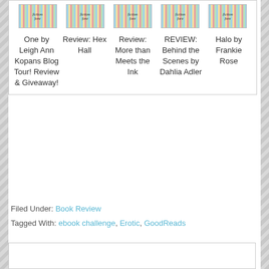[Figure (other): Five small colorful logo images arranged in a row at the top of a bordered card, each resembling a decorative 'fiction fare' style badge with teal, yellow, and red pixel patterns.]
One by Leigh Ann Kopans Blog Tour! Review & Giveaway!
Review: Hex Hall
Review: More than Meets the Ink
REVIEW: Behind the Scenes by Dahlia Adler
Halo by Frankie Rose
Filed Under: Book Review
Tagged With: ebook challenge, Erotic, GoodReads